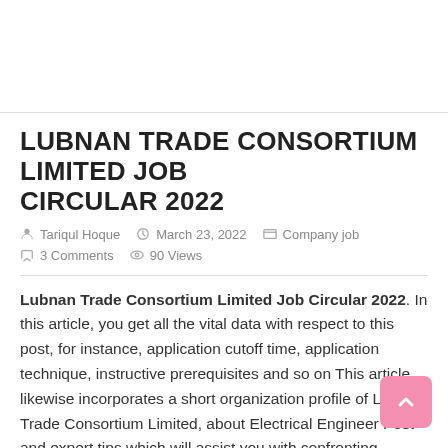LUBNAN TRADE CONSORTIUM LIMITED JOB CIRCULAR 2022
Tariqul Hoque   March 23, 2022   Company job   3 Comments   90 Views
Lubnan Trade Consortium Limited Job Circular 2022. In this article, you get all the vital data with respect to this post, for instance, application cutoff time, application technique, instructive prerequisites and so on This article likewise incorporates a short organization profile of Lubnan Trade Consortium Limited, about Electrical Engineer Post and expert tips which will assist you with confronting interview. Along these lines, follow this article, apply in short order and secure a lovely vocation.